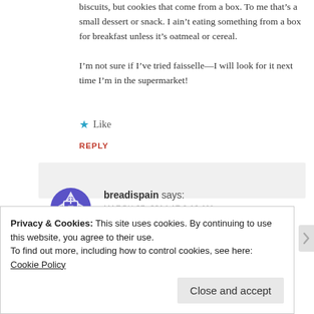biscuits, but cookies that come from a box. To me that's a small dessert or snack. I ain't eating something from a box for breakfast unless it's oatmeal or cereal.

I'm not sure if I've tried faisselle—I will look for it next time I'm in the supermarket!
★ Like
REPLY
breadispain says:
MARCH 27, 2014 AT 9:10 AM
haha, that sounds like my husband who just has coffee and toast with butter...um, whaaaa??? I just don't get it!
Privacy & Cookies: This site uses cookies. By continuing to use this website, you agree to their use.
To find out more, including how to control cookies, see here: Cookie Policy

Close and accept